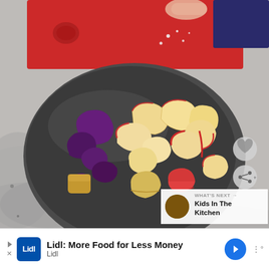[Figure (photo): Photo of cut potatoes in a round metal baking pan. Red potatoes and purple potatoes are cut into wedges and chunks. A red cutting board is visible in the background with a hand cutting. Granite countertop visible around the pan. A heart icon button and a share icon button are overlaid on the right side. A 'WHAT'S NEXT' overlay in the bottom right shows a thumbnail and text 'Kids In The Kitchen'.]
Lidl: More Food for Less Money
Lidl